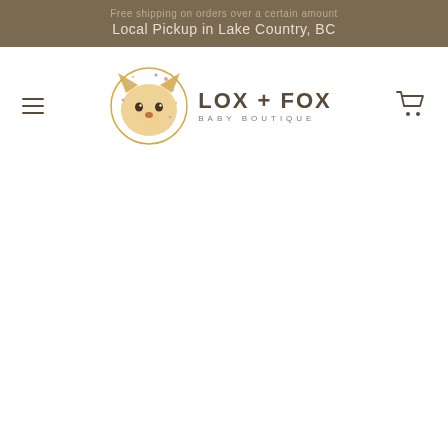Local Pickup in Lake Country, BC
[Figure (logo): Lox + Fox Baby Boutique logo with illustrated fox face and text]